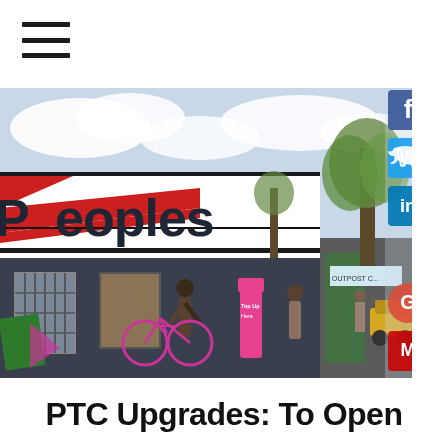[Figure (other): Hamburger menu icon (three horizontal lines)]
[Figure (photo): Exterior photo of a Peoples store building with large bold red and black signage reading 'peoples', a dark building facade with barred windows, people standing outside, a bicycle, trees and street scene in background. Social media icons (Facebook, Twitter, LinkedIn, Google, Mail) overlaid on right edge.]
PTC Upgrades: To Open